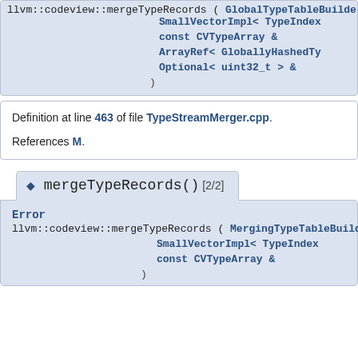llvm::codeview::mergeTypeRecords ( GlobalTypeTableBuilder & SmallVectorImpl< TypeIndex const CVTypeArray & ArrayRef< GloballyHashedTy Optional< uint32_t > & )
Definition at line 463 of file TypeStreamMerger.cpp.
References M.
◆ mergeTypeRecords() [2/2]
Error
llvm::codeview::mergeTypeRecords ( MergingTypeTableBuilder & SmallVectorImpl< TypeIndex const CVTypeArray & )